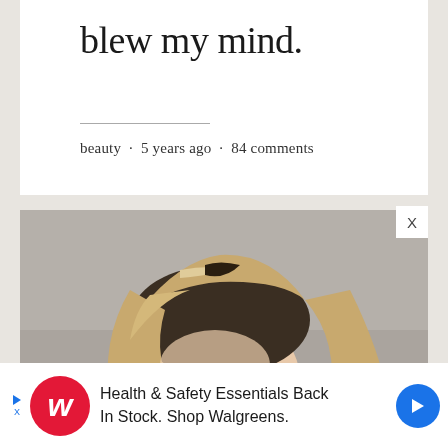blew my mind.
beauty · 5 years ago · 84 comments
[Figure (photo): Close-up photo of a person with blonde hair against a grey-beige background, showing top of head and forehead area]
Health & Safety Essentials Back In Stock. Shop Walgreens.